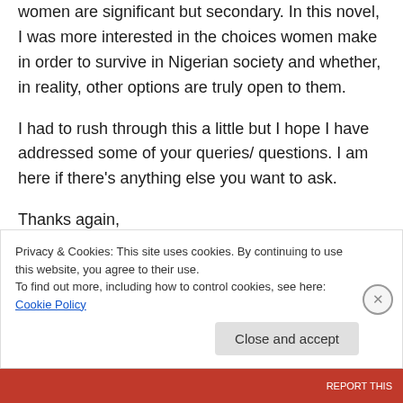women are significant but secondary. In this novel, I was more interested in the choices women make in order to survive in Nigerian society and whether, in reality, other options are truly open to them.
I had to rush through this a little but I hope I have addressed some of your queries/ questions. I am here if there's anything else you want to ask.
Thanks again,
Privacy & Cookies: This site uses cookies. By continuing to use this website, you agree to their use.
To find out more, including how to control cookies, see here: Cookie Policy